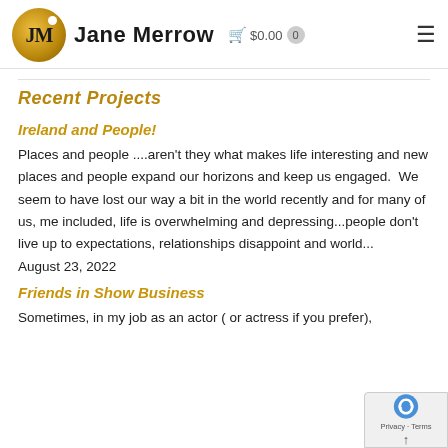Jane Merrow  $0.00  0
Recent Projects
Ireland and People!
Places and people ....aren't they what makes life interesting and new places and people expand our horizons and keep us engaged.  We seem to have lost our way a bit in the world recently and for many of us, me included, life is overwhelming and depressing...people don't live up to expectations, relationships disappoint and world...
August 23, 2022
Friends in Show Business
Sometimes, in my job as an actor ( or actress if you prefer),